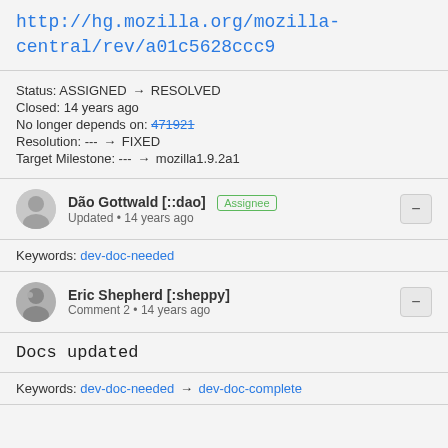http://hg.mozilla.org/mozilla-central/rev/a01c5628ccc9
Status: ASSIGNED → RESOLVED
Closed: 14 years ago
No longer depends on: 471921
Resolution: --- → FIXED
Target Milestone: --- → mozilla1.9.2a1
Dão Gottwald [::dao] Assignee
Updated • 14 years ago
Keywords: dev-doc-needed
Eric Shepherd [:sheppy]
Comment 2 • 14 years ago
Docs updated
Keywords: dev-doc-needed → dev-doc-complete